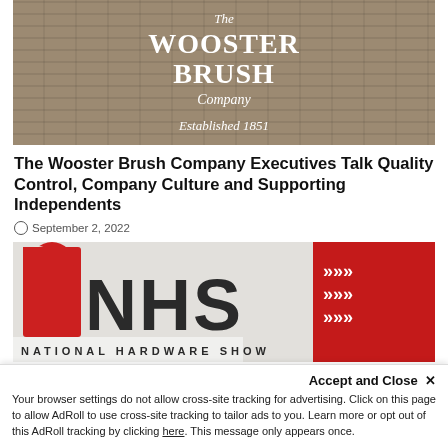[Figure (photo): Photo of The Wooster Brush Company building sign on brick wall, showing 'The WOOSTER BRUSH Company Established 1851']
The Wooster Brush Company Executives Talk Quality Control, Company Culture and Supporting Independents
September 2, 2022
[Figure (photo): Photo of National Hardware Show exterior with large NHS logo (red and dark letters) and signage reading 'NATIONAL HARDWARE SHOW']
Accept and Close ✕
Your browser settings do not allow cross-site tracking for advertising. Click on this page to allow AdRoll to use cross-site tracking to tailor ads to you. Learn more or opt out of this AdRoll tracking by clicking here. This message only appears once.